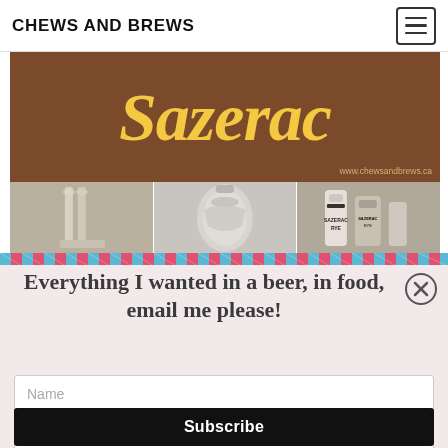CHEWS AND BREWS
[Figure (photo): Sazerac cocktail blog image: brown background with 'Sazerac' in large yellow italic serif font, website URL www.chewsandbrews.ca, and a three-panel photo strip showing cocktail glassware, a silver shaker, and Sazerac Rye whiskey bottles]
Everything I wanted in a beer, in food, email me please!
Name
Email
Subscribe